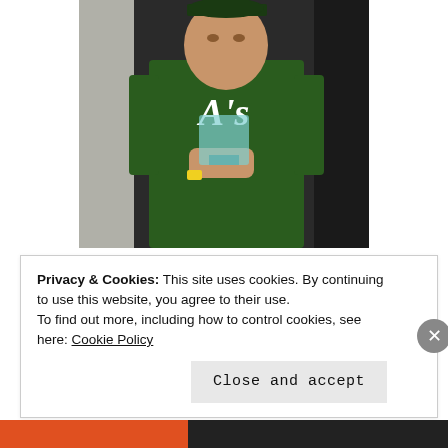[Figure (photo): A person wearing a green Oakland A's baseball jersey holding a trophy or glass award, photographed in what appears to be a locker room or store with jerseys visible in background.]
And that is not lost on Sean, who grew up in a military family. Whose father won a bronze star for his service in the Air Force during Operation Iraqi Freedom.
Privacy & Cookies: This site uses cookies. By continuing to use this website, you agree to their use.
To find out more, including how to control cookies, see here: Cookie Policy
Close and accept